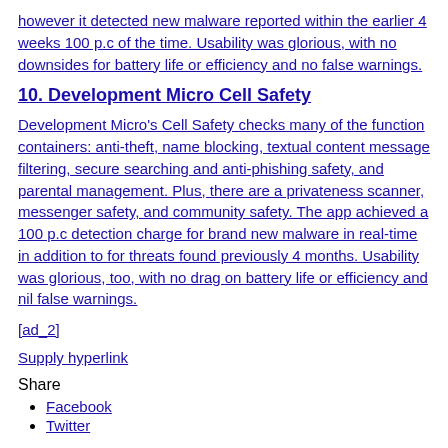however it detected new malware reported within the earlier 4 weeks 100 p.c of the time. Usability was glorious, with no downsides for battery life or efficiency and no false warnings.
10. Development Micro Cell Safety
Development Micro's Cell Safety checks many of the function containers: anti-theft, name blocking, textual content message filtering, secure searching and anti-phishing safety, and parental management. Plus, there are a privateness scanner, messenger safety, and community safety. The app achieved a 100 p.c detection charge for brand new malware in real-time in addition to for threats found previously 4 months. Usability was glorious, too, with no drag on battery life or efficiency and nil false warnings.
[ad_2]
Supply hyperlink
Share
Facebook
Twitter